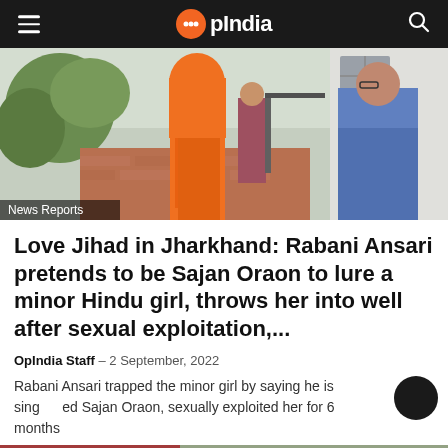OpIndia
[Figure (photo): A woman in an orange sari with her face covered walks in a courtyard; another woman stands in background and a third woman in a blue sari stands to the right near a building. A 'News Reports' tag appears in the bottom left.]
Love Jihad in Jharkhand: Rabani Ansari pretends to be Sajan Oraon to lure a minor Hindu girl, throws her into well after sexual exploitation,...
OpIndia Staff – 2 September, 2022
Rabani Ansari trapped the minor girl by saying he is singled named Sajan Oraon, sexually exploited her for 6 months
[Figure (photo): Bottom strip of a second article photo, partially visible at bottom of page.]